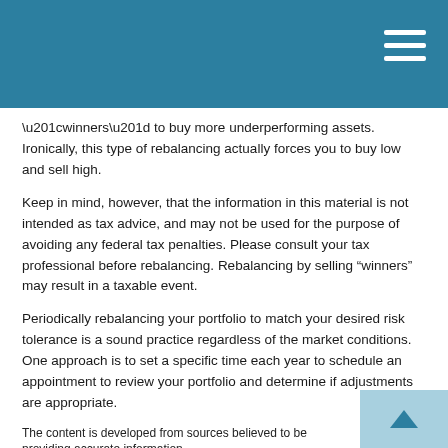“winners” to buy more underperforming assets. Ironically, this type of rebalancing actually forces you to buy low and sell high.
Keep in mind, however, that the information in this material is not intended as tax advice, and may not be used for the purpose of avoiding any federal tax penalties. Please consult your tax professional before rebalancing. Rebalancing by selling “winners” may result in a taxable event.
Periodically rebalancing your portfolio to match your desired risk tolerance is a sound practice regardless of the market conditions. One approach is to set a specific time each year to schedule an appointment to review your portfolio and determine if adjustments are appropriate.
The content is developed from sources believed to be providing accurate information